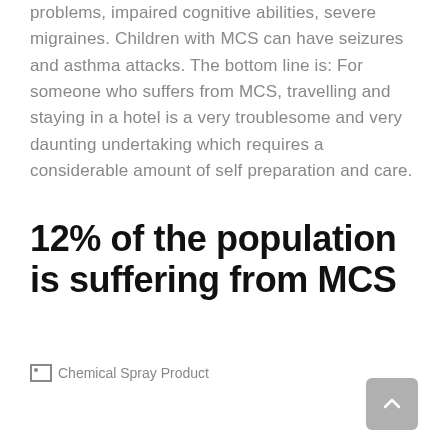problems, impaired cognitive abilities, severe migraines. Children with MCS can have seizures and asthma attacks. The bottom line is: For someone who suffers from MCS, travelling and staying in a hotel is a very troublesome and very daunting undertaking which requires a considerable amount of self preparation and care.
12% of the population is suffering from MCS
[Figure (photo): Chemical Spray Product image placeholder]